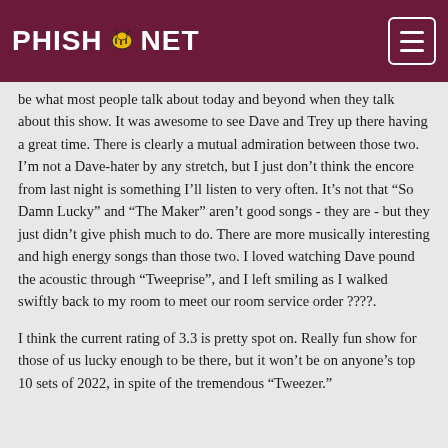PHISH.NET
be what most people talk about today and beyond when they talk about this show. It was awesome to see Dave and Trey up there having a great time. There is clearly a mutual admiration between those two. I’m not a Dave-hater by any stretch, but I just don’t think the encore from last night is something I’ll listen to very often. It’s not that “So Damn Lucky” and “The Maker” aren’t good songs - they are - but they just didn’t give phish much to do. There are more musically interesting and high energy songs than those two. I loved watching Dave pound the acoustic through “Tweeprise”, and I left smiling as I walked swiftly back to my room to meet our room service order ????.
I think the current rating of 3.3 is pretty spot on. Really fun show for those of us lucky enough to be there, but it won’t be on anyone’s top 10 sets of 2022, in spite of the tremendous “Tweezer.”